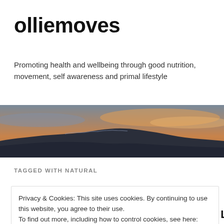olliemoves
Promoting health and wellbeing through good nutrition, movement, self awareness and primal lifestyle
[Figure (photo): Landscape photo of flat-topped mountains at sunset with orange and purple sky]
TAGGED WITH NATURAL
What would you feed an
Privacy & Cookies: This site uses cookies. By continuing to use this website, you agree to their use.
To find out more, including how to control cookies, see here: Cookie Policy
Close and accept
take care of it.  What would you feed it?  Let's say it was